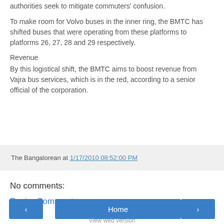authorities seek to mitigate commuters' confusion.
To make room for Volvo buses in the inner ring, the BMTC has shifted buses that were operating from these platforms to platforms 26, 27, 28 and 29 respectively.
Revenue
By this logistical shift, the BMTC aims to boost revenue from Vajra bus services, which is in the red, according to a senior official of the corporation.
The Bangalorean at 1/17/2010 08:52:00 PM
No comments:
Post a Comment